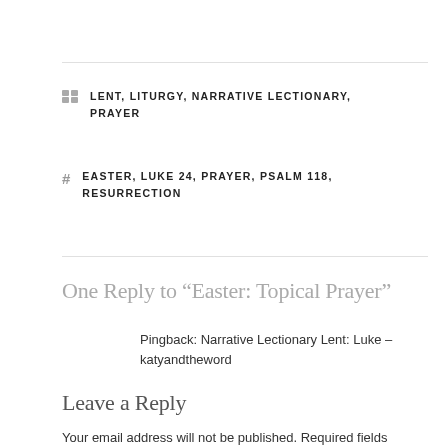LENT, LITURGY, NARRATIVE LECTIONARY, PRAYER
EASTER, LUKE 24, PRAYER, PSALM 118, RESURRECTION
One Reply to “Easter: Topical Prayer”
Pingback: Narrative Lectionary Lent: Luke – katyandtheword
Leave a Reply
Your email address will not be published. Required fields